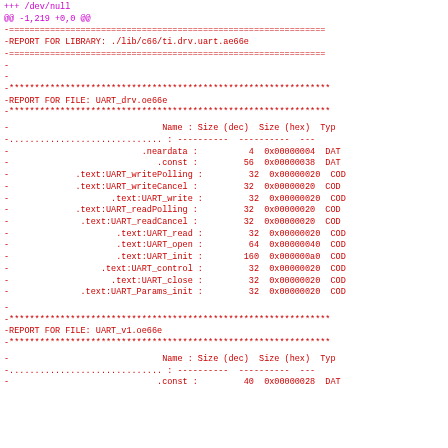+++ /dev/null
@@ -1,219 +0,0 @@
-==============================================================
-REPORT FOR LIBRARY: ./lib/c66/ti.drv.uart.ae66e
-==============================================================
-
-
-***************************************************************
-REPORT FOR FILE: UART_drv.oe66e
-***************************************************************
| Name | Size (dec) | Size (hex) | Typ |
| --- | --- | --- | --- |
| .neardata | 4 | 0x00000004 | DAT |
| .const | 56 | 0x00000038 | DAT |
| .text:UART_writePolling | 32 | 0x00000020 | COD |
| .text:UART_writeCancel | 32 | 0x00000020 | COD |
| .text:UART_write | 32 | 0x00000020 | COD |
| .text:UART_readPolling | 32 | 0x00000020 | COD |
| .text:UART_readCancel | 32 | 0x00000020 | COD |
| .text:UART_read | 32 | 0x00000020 | COD |
| .text:UART_open | 64 | 0x00000040 | COD |
| .text:UART_init | 160 | 0x000000a0 | COD |
| .text:UART_control | 32 | 0x00000020 | COD |
| .text:UART_close | 32 | 0x00000020 | COD |
| .text:UART_Params_init | 32 | 0x00000020 | COD |
-
-***************************************************************
-REPORT FOR FILE: UART_v1.oe66e
-***************************************************************
| Name | Size (dec) | Size (hex) | Typ |
| --- | --- | --- | --- |
| .const | 40 | 0x00000028 | DAT |